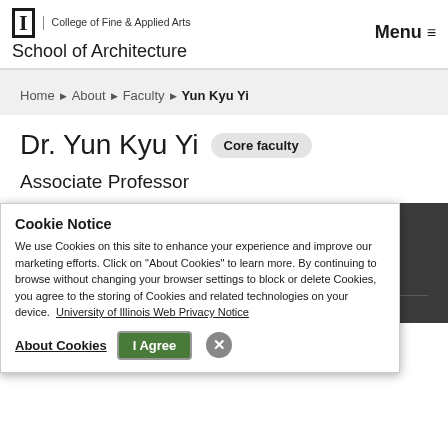I | College of Fine & Applied Arts
School of Architecture
Menu ≡
Home ▶ About ▶ Faculty ▶ Yun Kyu Yi
Dr. Yun Kyu Yi  [Core faculty]
Associate Professor
Contact
vkyi@illinois.edu
(217) 530-1888
Address
M232 Temple Hoyne Buell Hall
Cookie Notice
We use Cookies on this site to enhance your experience and improve our marketing efforts. Click on "About Cookies" to learn more. By continuing to browse without changing your browser settings to block or delete Cookies, you agree to the storing of Cookies and related technologies on your device.  University of Illinois Web Privacy Notice
About Cookies    I Agree    ✕